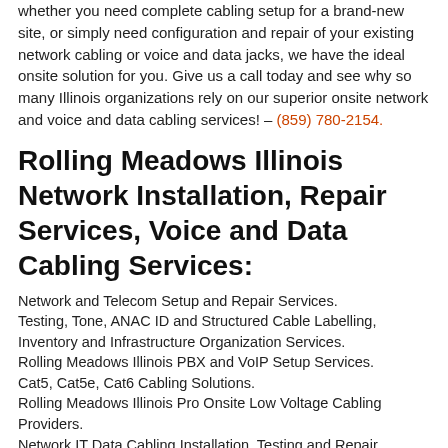whether you need complete cabling setup for a brand-new site, or simply need configuration and repair of your existing network cabling or voice and data jacks, we have the ideal onsite solution for you. Give us a call today and see why so many Illinois organizations rely on our superior onsite network and voice and data cabling services! – (859) 780-2154.
Rolling Meadows Illinois Network Installation, Repair Services, Voice and Data Cabling Services:
Network and Telecom Setup and Repair Services.
Testing, Tone, ANAC ID and Structured Cable Labelling, Inventory and Infrastructure Organization Services.
Rolling Meadows Illinois PBX and VoIP Setup Services.
Cat5, Cat5e, Cat6 Cabling Solutions.
Rolling Meadows Illinois Pro Onsite Low Voltage Cabling Providers.
Network IT Data Cabling Installation, Testing and Repair Services.
Telecom Tag and Locate Services.
Network Infrastructure Setup: Rack, Patch Panel, Switch and